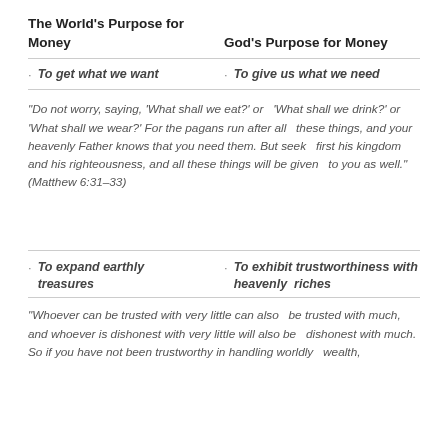The World's Purpose for Money   God's Purpose for Money
To get what we want
To give us what we need
“Do not worry, saying, ‘What shall we eat?’ or   ‘What shall we drink?’ or ‘What shall we wear?’ For the pagans run after all   these things, and your heavenly Father knows that you need them. But seek   first his kingdom and his righteousness, and all these things will be given   to you as well.”(Matthew 6:31–33)
To expand earthly treasures
To exhibit trustworthiness with heavenly   riches
“Whoever can be trusted with very little can also   be trusted with much, and whoever is dishonest with very little will also be   dishonest with much. So if you have not been trustworthy in handling worldly   wealth,